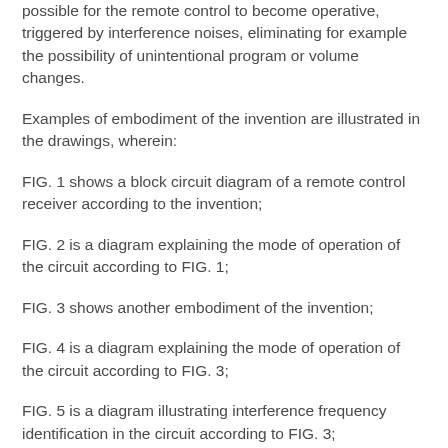possible for the remote control to become operative, triggered by interference noises, eliminating for example the possibility of unintentional program or volume changes.
Examples of embodiment of the invention are illustrated in the drawings, wherein:
FIG. 1 shows a block circuit diagram of a remote control receiver according to the invention;
FIG. 2 is a diagram explaining the mode of operation of the circuit according to FIG. 1;
FIG. 3 shows another embodiment of the invention;
FIG. 4 is a diagram explaining the mode of operation of the circuit according to FIG. 3;
FIG. 5 is a diagram illustrating interference frequency identification in the circuit according to FIG. 3;
FIG. 6 shows a block circuit diagram of another embodiment